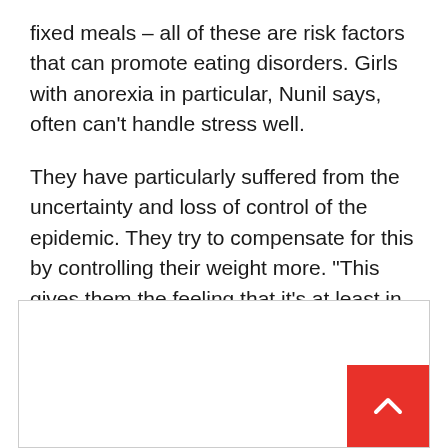fixed meals – all of these are risk factors that can promote eating disorders. Girls with anorexia in particular, Nunil says, often can’t handle stress well.
They have particularly suffered from the uncertainty and loss of control of the epidemic. They try to compensate for this by controlling their weight more. “This gives them the feeling that it’s at least in their hands,” explains Nunel.
dpa
[Figure (other): White box with a red scroll-to-top button in the bottom-right corner containing an upward-pointing chevron arrow.]